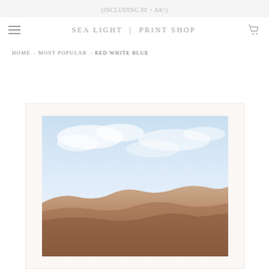(INCLUDING HI + AK!)
SEA LIGHT | PRINT SHOP
HOME › MOST POPULAR › RED WHITE BLUE
[Figure (photo): A landscape photograph of a mountain or canyon terrain with a light blue sky and clouds above reddish-brown rocky ridges, displayed in a white-matted frame with a cream background.]